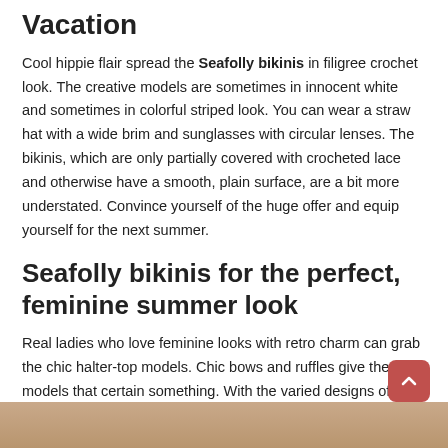Vacation
Cool hippie flair spread the Seafolly bikinis in filigree crochet look. The creative models are sometimes in innocent white and sometimes in colorful striped look. You can wear a straw hat with a wide brim and sunglasses with circular lenses. The bikinis, which are only partially covered with crocheted lace and otherwise have a smooth, plain surface, are a bit more understated. Convince yourself of the huge offer and equip yourself for the next summer.
Seafolly bikinis for the perfect, feminine summer look
Real ladies who love feminine looks with retro charm can grab the chic halter-top models. Chic bows and ruffles give these models that certain something. With the varied designs of the Australian label guaranteed no boredom. Of course, the trendy label should not miss cool surfer styles. Seafolly bikinis with casual bandeau tops are the perfect choice. The models are in bright trend colors like pink or turquoise or directly show the whole spectrum of the rainbow.
[Figure (photo): Partial photo strip at bottom of page showing a person, cropped]